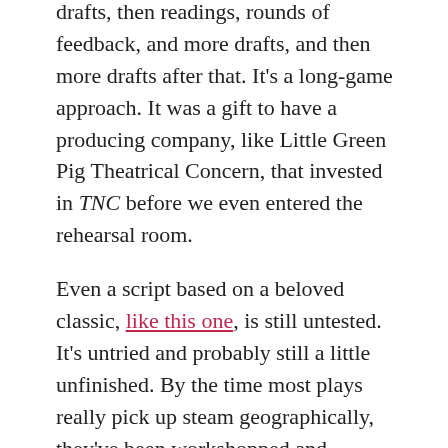drafts, then readings, rounds of feedback, and more drafts, and then more drafts after that. It's a long-game approach. It was a gift to have a producing company, like Little Green Pig Theatrical Concern, that invested in TNC before we even entered the rehearsal room.
Even a script based on a beloved classic, like this one, is still untested. It's untried and probably still a little unfinished. By the time most plays really pick up steam geographically, they've been workshopped and produced multiple times, so the first production is really the infant phase for a new play. And you know it takes a village to raise a child….
Dana Marks, the director of TNC, has been a superb detective, problem-solver and imagineer — reading the text closely, discovering moments I didn't know were there, conducting the pacing, arc and emotional tone of